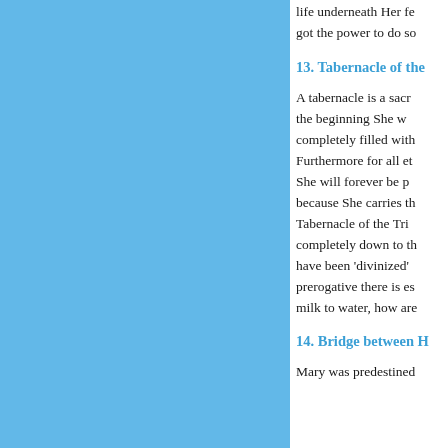[Figure (illustration): Blue rectangular panel on the left side of the page]
life underneath Her fe got the power to do so
13. Tabernacle of the
A tabernacle is a sacr the beginning She w completely filled with Furthermore for all et She will forever be p because She carries th Tabernacle of the Tri completely down to th have been 'divinized' prerogative there is es milk to water, how are
14. Bridge between H
Mary was predestined